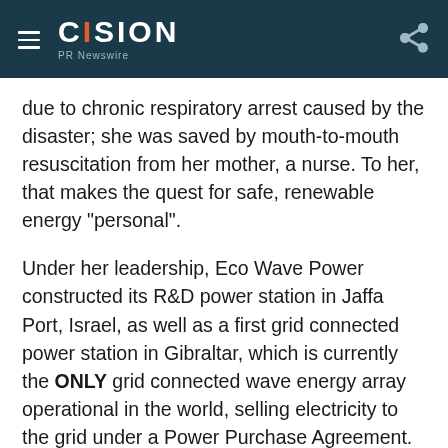CISION PR Newswire
due to chronic respiratory arrest caused by the disaster; she was saved by mouth-to-mouth resuscitation from her mother, a nurse. To her, that makes the quest for safe, renewable energy "personal".
Under her leadership, Eco Wave Power constructed its R&D power station in Jaffa Port, Israel, as well as a first grid connected power station in Gibraltar, which is currently the ONLY grid connected wave energy array operational in the world, selling electricity to the grid under a Power Purchase Agreement.